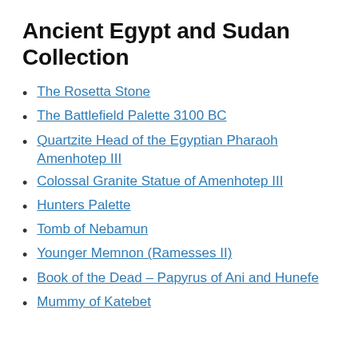Ancient Egypt and Sudan Collection
The Rosetta Stone
The Battlefield Palette 3100 BC
Quartzite Head of the Egyptian Pharaoh Amenhotep III
Colossal Granite Statue of Amenhotep III
Hunters Palette
Tomb of Nebamun
Younger Memnon (Ramesses II)
Book of the Dead – Papyrus of Ani and Hunefe
Mummy of Katebet